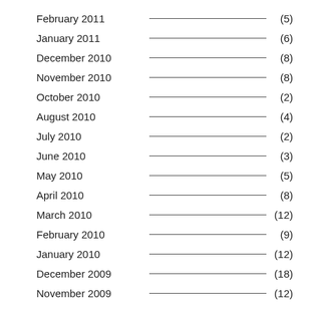February 2011 (5)
January 2011 (6)
December 2010 (8)
November 2010 (8)
October 2010 (2)
August 2010 (4)
July 2010 (2)
June 2010 (3)
May 2010 (5)
April 2010 (8)
March 2010 (12)
February 2010 (9)
January 2010 (12)
December 2009 (18)
November 2009 (12)